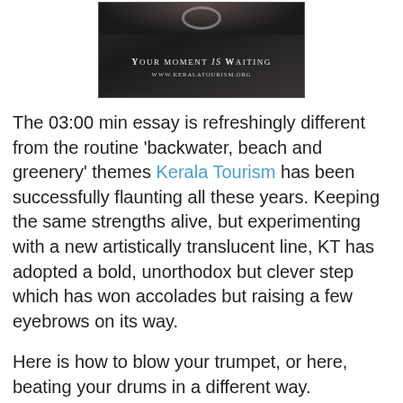[Figure (photo): Advertisement image with dark background showing rings at top, text 'YOUR MOMENT is WAITING' and 'WWW.KERALATOURISM.ORG']
The 03:00 min essay is refreshingly different from the routine 'backwater, beach and greenery' themes Kerala Tourism has been successfully flaunting all these years. Keeping the same strengths alive, but experimenting with a new artistically translucent line, KT has adopted a bold, unorthodox but clever step which has won accolades but raising a few eyebrows on its way.
Here is how to blow your trumpet, or here, beating your drums in a different way.